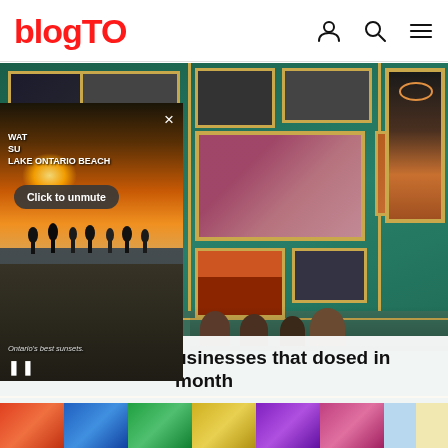blogTO
[Figure (photo): Green wall covered with gold-framed artworks and photographs in a restaurant. A video popup overlay shows a beach at sunset (Lake Ontario Beach) with a 'Click to unmute' button and close X button. People are visible at the bottom of the hero image.]
usinesses that dosed in month
[Figure (photo): Colorful image strip at the bottom of the page]